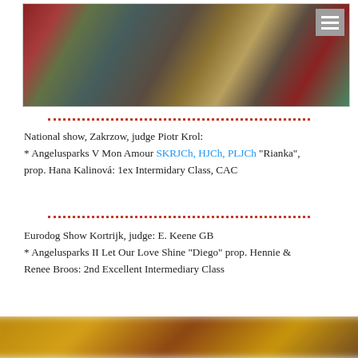[Figure (photo): Dog show photo with Christmas decorations, gnomes, reindeer figurines, trophies, and red poinsettias. A black dog is on a platform with awards.]
National show, Zakrzow, judge Piotr Krol:
* Angelusparks V Mon Amour SKRJCh, HJCh, PLJCh "Rianka", prop. Hana Kalinová: 1ex Intermidary Class, CAC
Eurodog Show Kortrijk, judge: E. Keene GB
* Angelusparks II Let Our Love Shine "Diego" prop. Hennie & Renee Broos: 2nd Excellent Intermediary Class
[Figure (photo): Blurred bottom photo of a dog show, partially visible.]